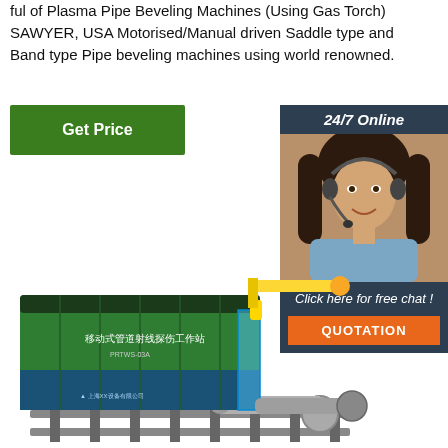ful of Plasma Pipe Beveling Machines (Using Gas Torch) SAWYER, USA Motorised/Manual driven Saddle type and Band type Pipe beveling machines using world renowned.
[Figure (other): Green 'Get Price' button]
[Figure (photo): 24/7 Online customer service representative wearing headset, smiling, with 'Click here for free chat!' text and orange QUOTATION button]
[Figure (engineering-diagram): 3D rendering of a mobile pipeline X-ray inspection workstation (移动式管道射线探伤工作站 PRTWS-03A) — a green and blue shipping container with a yellow robotic arm extended, mounted on a rail system with pipe sections.]